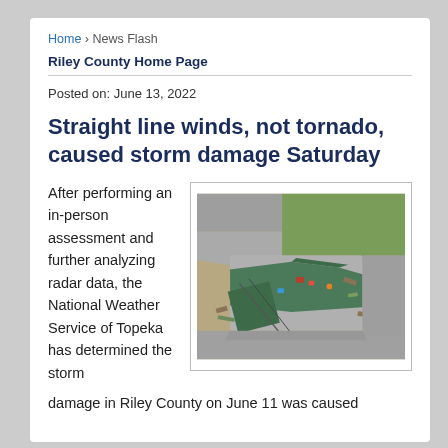Home › News Flash
Riley County Home Page
Posted on: June 13, 2022
Straight line winds, not tornado, caused storm damage Saturday
After performing an in-person assessment and further analyzing radar data, the National Weather Service of Topeka has determined the storm damage in Riley County on June 11 was caused
[Figure (photo): Aerial photograph showing storm damage to a building with green roof panels collapsed or displaced, debris scattered around, green grass and pavement visible from above.]